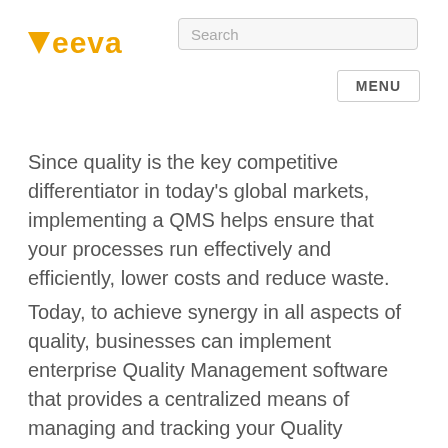Veeva | Search | MENU
Since quality is the key competitive differentiator in today's global markets, implementing a QMS helps ensure that your processes run effectively and efficiently, lower costs and reduce waste.
Today, to achieve synergy in all aspects of quality, businesses can implement enterprise Quality Management software that provides a centralized means of managing and tracking your Quality